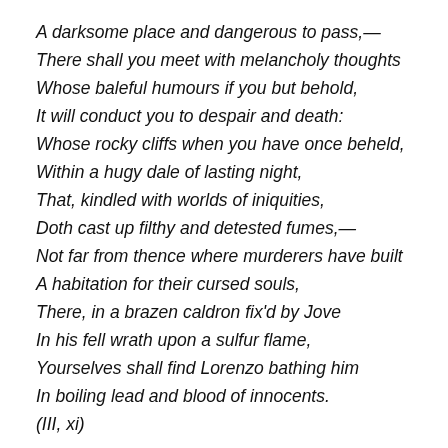A darksome place and dangerous to pass,—
There shall you meet with melancholy thoughts
Whose baleful humours if you but behold,
It will conduct you to despair and death:
Whose rocky cliffs when you have once beheld,
Within a hugy dale of lasting night,
That, kindled with worlds of iniquities,
Doth cast up filthy and detested fumes,—
Not far from thence where murderers have built
A habitation for their cursed souls,
There, in a brazen caldron fix'd by Jove
In his fell wrath upon a sulfur flame,
Yourselves shall find Lorenzo bathing him
In boiling lead and blood of innocents.
(III, xi)
I could see that working very well as a set piece. The